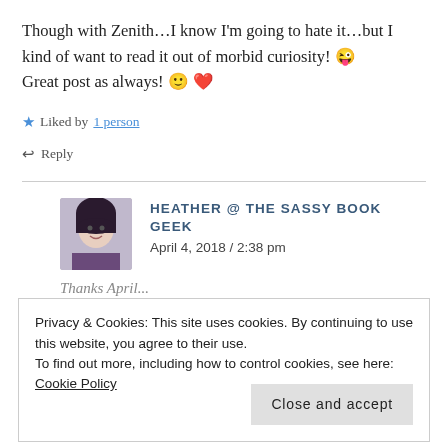Though with Zenith…I know I'm going to hate it…but I kind of want to read it out of morbid curiosity! 😜 Great post as always! 🙂 ❤
★ Liked by 1 person
↩ Reply
HEATHER @ THE SASSY BOOK GEEK
April 4, 2018 / 2:38 pm
Thanks April...
Privacy & Cookies: This site uses cookies. By continuing to use this website, you agree to their use.
To find out more, including how to control cookies, see here:
Cookie Policy
Close and accept